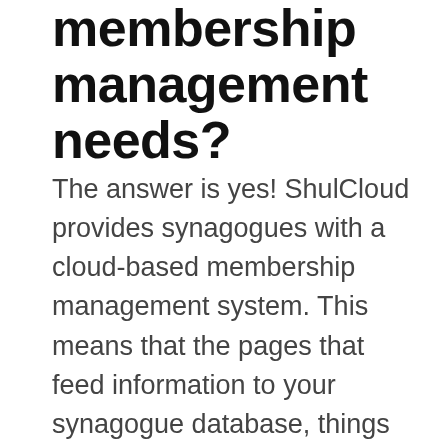membership management needs?
The answer is yes! ShulCloud provides synagogues with a cloud-based membership management system. This means that the pages that feed information to your synagogue database, things like donation forms, calendar events, and other registration forms are online and visible to the public. You don't need to be logged into ShulCloud to view these forward-facing pages. When using an Addicott WordPress website in partnership with ShulCloud, we help you link or redirect the user to those forms...